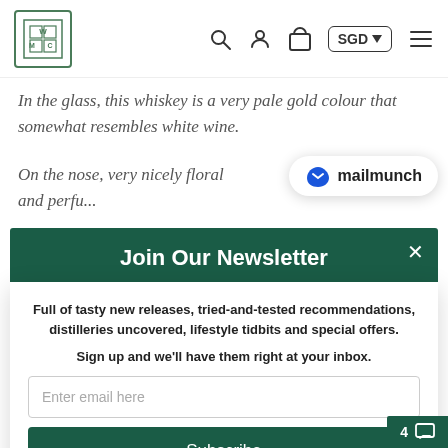[Figure (logo): Website navigation bar with logo (WCM monogram in bordered box), search icon, user icon, cart icon, SGD currency selector, and hamburger menu]
In the glass, this whiskey is a very pale gold colour that somewhat resembles white wine.
On the nose, very nicely floral and perfu...
[Figure (logo): Mailmunch popup badge with blue M logo and text 'mailmunch']
Join Our Newsletter
Full of tasty new releases, tried-and-tested recommendations, distilleries uncovered, lifestyle tidbits and special offers.
Sign up and we'll have them right at your inbox.
Enter email here
Subscribe
4